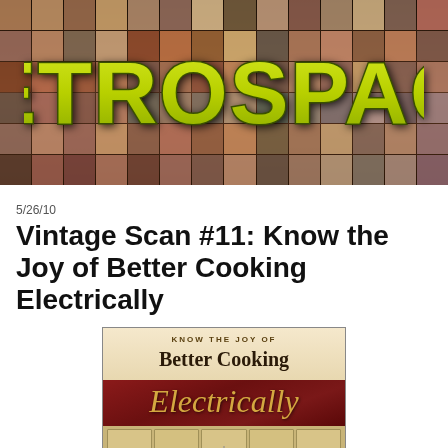[Figure (photo): Retrospace website banner with collage of vintage 1970s album covers, photos, and magazine images as background, with the word RETROSPACE in large retro yellow-green bubble letters overlaid]
5/26/10
Vintage Scan #11: Know the Joy of Better Cooking Electrically
[Figure (photo): Vintage cookbook cover with dark red/maroon background showing text 'KNOW THE JOY OF Better Cooking Electrically' with gold cursive lettering, and a vintage kitchen scene at the bottom with cabinets and a person]